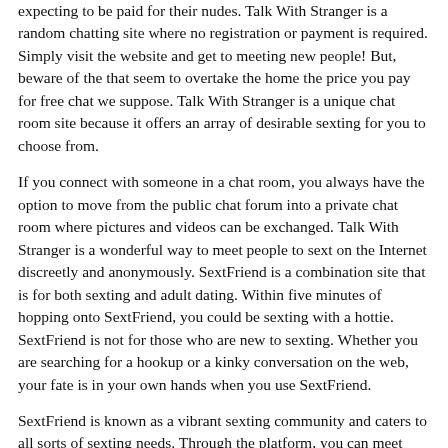expecting to be paid for their nudes. Talk With Stranger is a random chatting site where no registration or payment is required. Simply visit the website and get to meeting new people! But, beware of the that seem to overtake the home the price you pay for free chat we suppose. Talk With Stranger is a unique chat room site because it offers an array of desirable sexting for you to choose from.
If you connect with someone in a chat room, you always have the option to move from the public chat forum into a private chat room where pictures and videos can be exchanged. Talk With Stranger is a wonderful way to meet people to sext on the Internet discreetly and anonymously. SextFriend is a combination site that is for both sexting and adult dating. Within five minutes of hopping onto SextFriend, you could be sexting with a hottie. SextFriend is not for those who are new to sexting. Whether you are searching for a hookup or a kinky conversation on the web, your fate is in your own hands when you use SextFriend.
SextFriend is known as a vibrant sexting community and caters to all sorts of sexting needs. Through the platform, you can meet people to sext, use their messaging feature, video chat, and send photographs. Chatzy : Most Straightforward Chat Site. Chatzy is a quick, straightforward, no-frills chatting platform. Though the website feels a bit out-of-date, it does a fantastic job at connecting people for the purposes of sexting and erotic chatting. ing the